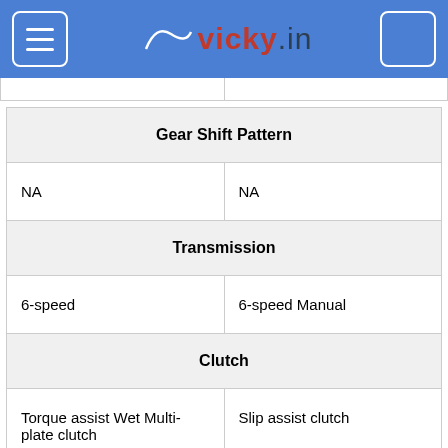vicky.in
| Gear Shift Pattern |  |
| NA | NA |
| Transmission |  |
| 6-speed | 6-speed Manual |
| Clutch |  |
| Torque assist Wet Multi-plate clutch | Slip assist clutch |
FuelTank